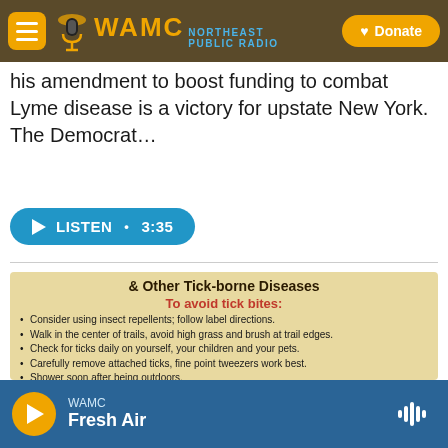WAMC NORTHEAST PUBLIC RADIO — Donate
his amendment to boost funding to combat Lyme disease is a victory for upstate New York. The Democrat…
LISTEN • 3:35
[Figure (photo): A yellow sign about Lyme disease and other tick-borne diseases with the heading '& Other Tick-borne Diseases', subheading 'To avoid tick bites:' and a bulleted list: Consider using insect repellents; follow label directions. Walk in the center of trails, avoid high grass and brush at trail edges. Check for ticks daily on yourself, your children and your pets. Carefully remove attached ticks, fine point tweezers work best. Shower soon after being outdoors. Below are two small photos of ticks.]
WAMC Fresh Air